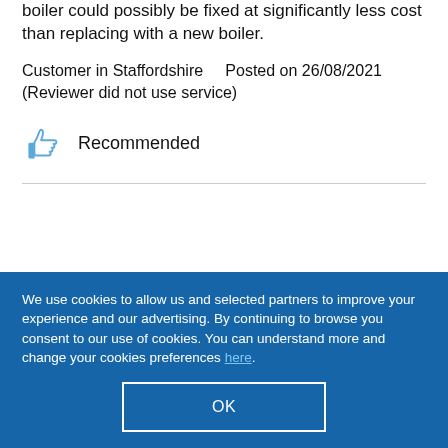boiler could possibly be fixed at significantly less cost than replacing with a new boiler.
Customer in Staffordshire    Posted on 26/08/2021 (Reviewer did not use service)
Recommended
We use cookies to allow us and selected partners to improve your experience and our advertising. By continuing to browse you consent to our use of cookies. You can understand more and change your cookies preferences here.
OK